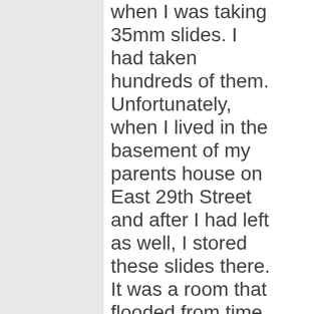when I was taking 35mm slides. I had taken hundreds of them. Unfortunately, when I lived in the basement of my parents house on East 29th Street and after I had left as well, I stored these slides there. It was a room that flooded from time to time. The dampness eroded and totally ruined most of my